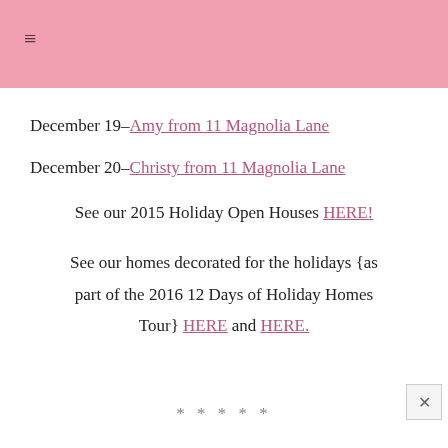≡
December 19– Amy from 11 Magnolia Lane
December 20– Christy from 11 Magnolia Lane
See our 2015 Holiday Open Houses HERE!
See our homes decorated for the holidays {as part of the 2016 12 Days of Holiday Homes Tour} HERE and HERE.
*****